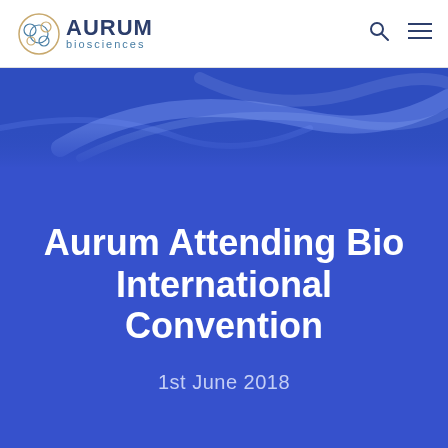[Figure (logo): Aurum Biosciences logo with circular molecule icon, AURUM in dark blue bold text, biosciences in smaller teal text below]
[Figure (photo): Blue-toned microscopy or scientific imagery band across the page, showing curved translucent blue streaks on a dark blue background]
Aurum Attending Bio International Convention
1st June 2018